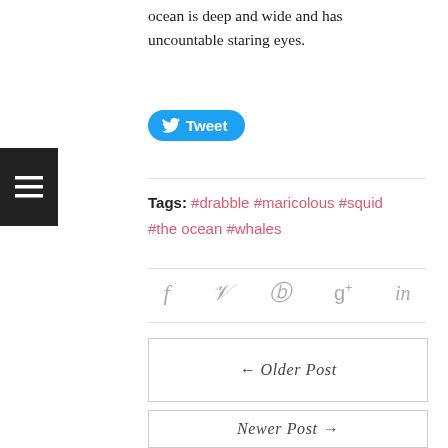ocean is deep and wide and has uncountable staring eyes.
[Figure (other): Tweet button in blue with Twitter bird icon]
Tags: #drabble #maricolous #squid #the ocean #whales
[Figure (other): Social share icons: facebook, twitter, pinterest, google+, linkedin]
← Older Post
Newer Post →